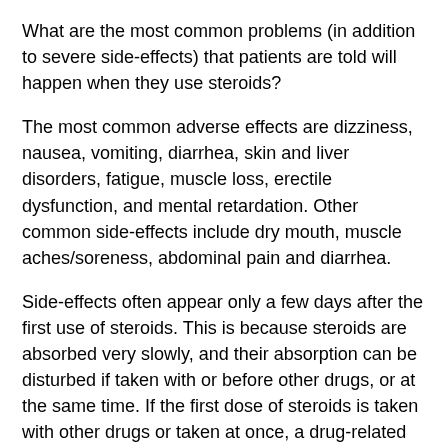What are the most common problems (in addition to severe side-effects) that patients are told will happen when they use steroids?
The most common adverse effects are dizziness, nausea, vomiting, diarrhea, skin and liver disorders, fatigue, muscle loss, erectile dysfunction, and mental retardation. Other common side-effects include dry mouth, muscle aches/soreness, abdominal pain and diarrhea.
Side-effects often appear only a few days after the first use of steroids. This is because steroids are absorbed very slowly, and their absorption can be disturbed if taken with or before other drugs, or at the same time. If the first dose of steroids is taken with other drugs or taken at once, a drug-related rash of cold sores, chills and fever may appear as soon as one to five days after the first dose